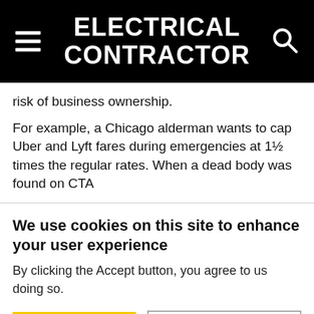ELECTRICAL CONTRACTOR
risk of business ownership.
For example, a Chicago alderman wants to cap Uber and Lyft fares during emergencies at 1½ times the regular rates. When a dead body was found on CTA
We use cookies on this site to enhance your user experience
By clicking the Accept button, you agree to us doing so.